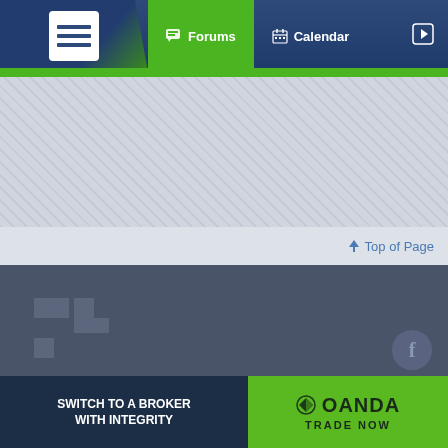Forums | Calendar
[Figure (screenshot): Gray diagonal-striped banner/advertisement area]
Top of Page
[Figure (logo): Forex Factory watermark logo in dark footer area]
About FF
Mission
Products
FF Products
Forums
Trades
FF Website
Homepage
Search
[Figure (infographic): OANDA broker advertisement banner: SWITCH TO A BROKER WITH INTEGRITY | OANDA TRADE NOW]